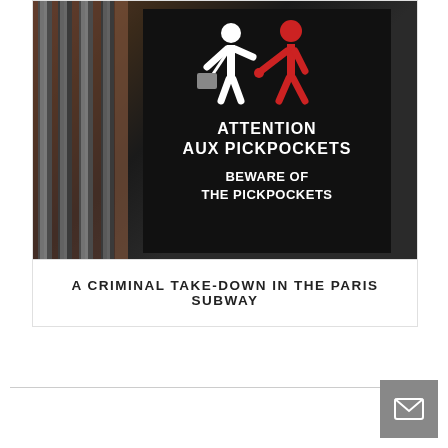[Figure (photo): A warning sign in a Paris subway station reading 'ATTENTION AUX PICKPOCKETS / BEWARE OF THE PICKPOCKETS' with pictograms of a white figure (victim) and red figure (thief) stealing a bag. Metal poles visible on the left side of the photo.]
A CRIMINAL TAKE-DOWN IN THE PARIS SUBWAY